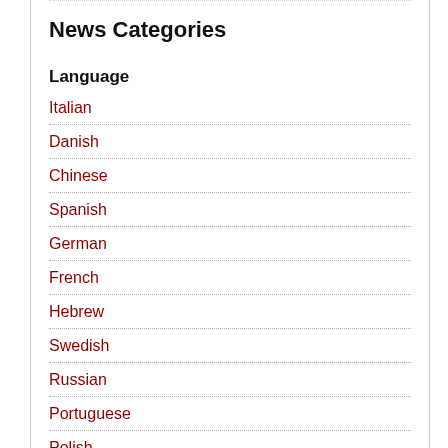News Categories
Language
Italian
Danish
Chinese
Spanish
German
French
Hebrew
Swedish
Russian
Portuguese
Polish
Medium
Audio
Video
Text